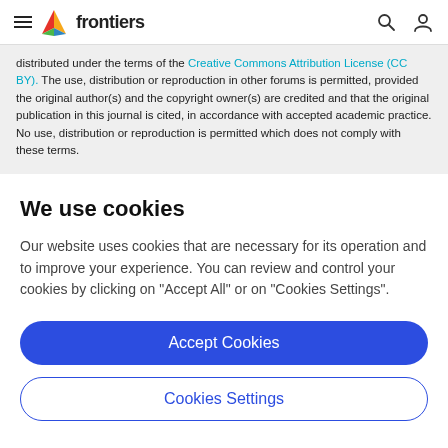frontiers
distributed under the terms of the Creative Commons Attribution License (CC BY). The use, distribution or reproduction in other forums is permitted, provided the original author(s) and the copyright owner(s) are credited and that the original publication in this journal is cited, in accordance with accepted academic practice. No use, distribution or reproduction is permitted which does not comply with these terms.
We use cookies
Our website uses cookies that are necessary for its operation and to improve your experience. You can review and control your cookies by clicking on "Accept All" or on "Cookies Settings".
Accept Cookies
Cookies Settings